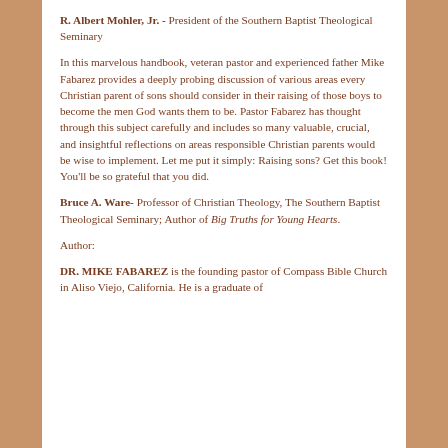R. Albert Mohler, Jr. - President of the Southern Baptist Theological Seminary
In this marvelous handbook, veteran pastor and experienced father Mike Fabarez provides a deeply probing discussion of various areas every Christian parent of sons should consider in their raising of those boys to become the men God wants them to be. Pastor Fabarez has thought through this subject carefully and includes so many valuable, crucial, and insightful reflections on areas responsible Christian parents would be wise to implement. Let me put it simply: Raising sons? Get this book! You'll be so grateful that you did.
Bruce A. Ware- Professor of Christian Theology, The Southern Baptist Theological Seminary; Author of Big Truths for Young Hearts.
Author:
DR. MIKE FABAREZ is the founding pastor of Compass Bible Church in Aliso Viejo, California. He is a graduate of